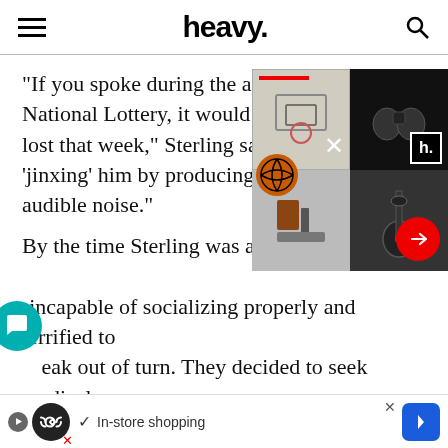heavy.
“If you spoke during the airing of the National Lottery, it would be your fault he lost that week,” Sterling said. “You were ‘jinxing’ him by producing the slightest audible noise.”
[Figure (screenshot): Advertisement overlay showing a grid of product images (basketball hoop, binoculars, guitar, art) with heavy. logo, a red close button, a white X, and a red arrow button.]
By the time Sterling was a teena[ger, they were] incapable of socializing properly and terrified to speak out of turn. They decided to seek medical attention after spending a party with friends trapped in their mind and convinced that everyone there [was judging them negativel]y, but [it]...
[Figure (screenshot): Bottom advertisement bar with play button, circular logo with infinity symbol, checkmark, 'In-store shopping' text, and a blue navigation arrow icon. An X close button appears in the corner.]